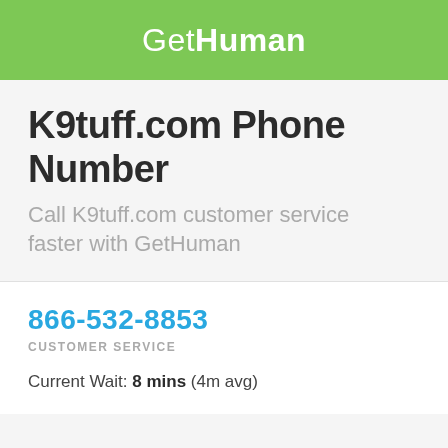GetHuman
K9tuff.com Phone Number
Call K9tuff.com customer service faster with GetHuman
866-532-8853
CUSTOMER SERVICE
Current Wait: 8 mins (4m avg)